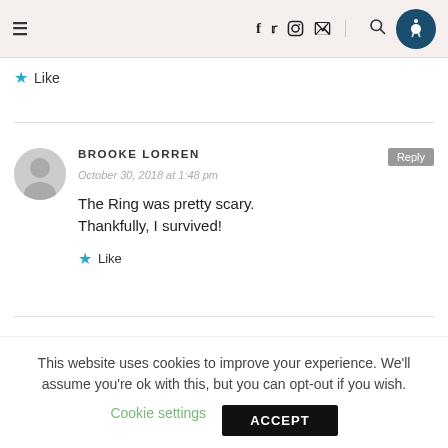Navigation bar with hamburger menu, social icons (f, twitter, instagram, youtube), search, and accessibility button
★ Like
BROOKE LORREN
October 30, 2018 at 1:48 pm
The Ring was pretty scary. Thankfully, I survived!
★ Like
DESTINY C... [partial]
This website uses cookies to improve your experience. We'll assume you're ok with this, but you can opt-out if you wish.
Cookie settings  ACCEPT